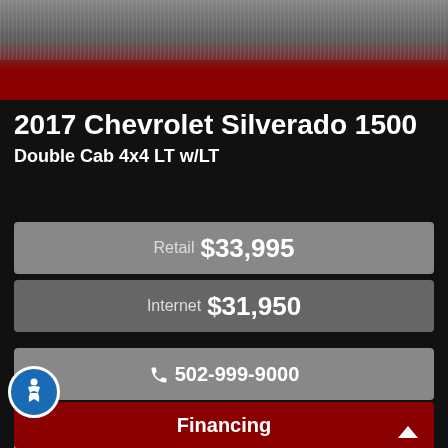[Figure (photo): Top portion of a vehicle listing page showing a truck photo area with dark red/maroon banner below it]
2017 Chevrolet Silverado 1500
Double Cab 4x4 LT w/LT
Retail  $33,995
Internet  $31,950
502-999-9000
Inquiry
Financing